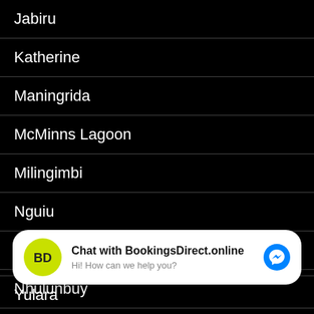Jabiru
Katherine
Maningrida
McMinns Lagoon
Milingimbi
Nguiu
Ngukurr
Nhulunbuy
Oenpelli
Palmerston
[Figure (screenshot): Chat popup overlay: 'Chat with BookingsDirect.online - Hi! How can we help you?' with yellow logo and Messenger icon]
Yulara